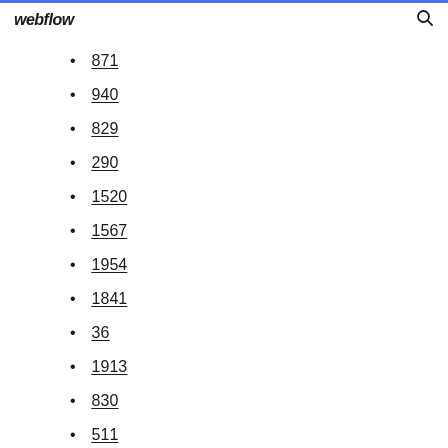webflow
871
940
829
290
1520
1567
1954
1841
36
1913
830
511